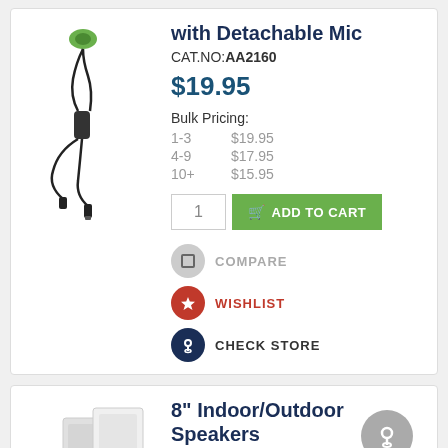[Figure (photo): Earphones with detachable mic product image showing black earbuds with cable and detachable microphone]
with Detachable Mic
CAT.NO:AA2160
$19.95
Bulk Pricing:
| Qty | Price |
| --- | --- |
| 1-3 | $19.95 |
| 4-9 | $17.95 |
| 10+ | $15.95 |
COMPARE
WISHLIST
CHECK STORE
[Figure (photo): 8 inch indoor/outdoor speakers - white rectangular speakers]
8" Indoor/Outdoor Speakers
CAT.NO:CS2478